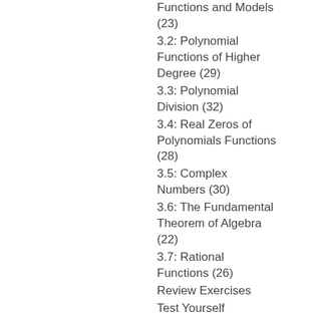Functions and Models (23)
3.2: Polynomial Functions of Higher Degree (29)
3.3: Polynomial Division (32)
3.4: Real Zeros of Polynomials Functions (28)
3.5: Complex Numbers (30)
3.6: The Fundamental Theorem of Algebra (22)
3.7: Rational Functions (26)
Review Exercises
Test Yourself